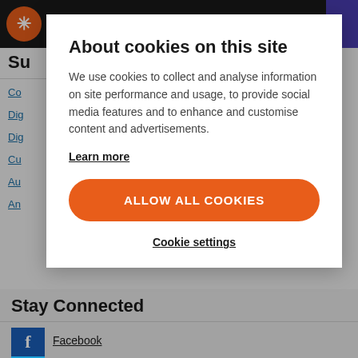Site navigation header with logo
Su
Co
Dig
Dig
Cu
Au
An
About cookies on this site
We use cookies to collect and analyse information on site performance and usage, to provide social media features and to enhance and customise content and advertisements.
Learn more
ALLOW ALL COOKIES
Cookie settings
Stay Connected
Facebook
Twitter